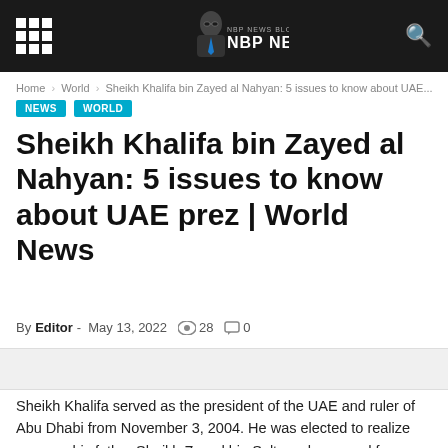NBP NEWS
Home › World › Sheikh Khalifa bin Zayed al Nahyan: 5 issues to know about UAE...
NEWS
WORLD
Sheikh Khalifa bin Zayed al Nahyan: 5 issues to know about UAE prez | World News
By Editor - May 13, 2022   28   0
Sheikh Khalifa served as the president of the UAE and ruler of Abu Dhabi from November 3, 2004. He was elected to realize success his father Sheikh Zayed bin Sultan who served from 1971 until...